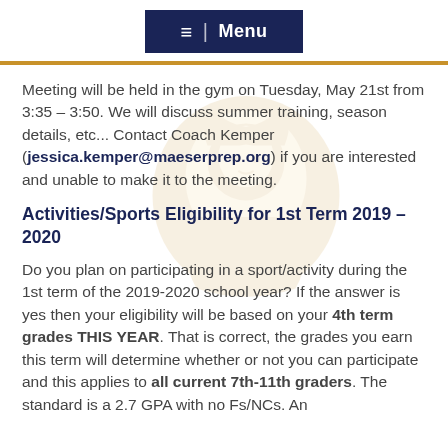≡  |  Menu
Meeting will be held in the gym on Tuesday, May 21st from 3:35 – 3:50. We will discuss summer training, season details, etc... Contact Coach Kemper (jessica.kemper@maeserprep.org) if you are interested and unable to make it to the meeting.
Activities/Sports Eligibility for 1st Term 2019 – 2020
Do you plan on participating in a sport/activity during the 1st term of the 2019-2020 school year? If the answer is yes then your eligibility will be based on your 4th term grades THIS YEAR. That is correct, the grades you earn this term will determine whether or not you can participate and this applies to all current 7th-11th graders. The standard is a 2.7 GPA with no Fs/NCs. An